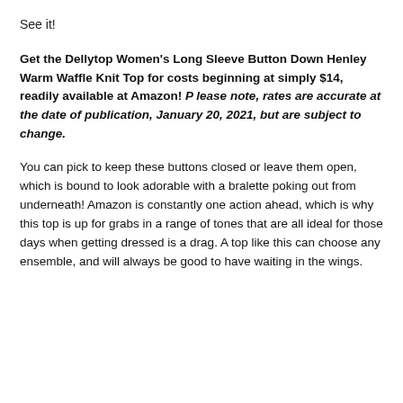See it!
Get the Dellytop Women's Long Sleeve Button Down Henley Warm Waffle Knit Top for costs beginning at simply $14, readily available at Amazon! Please note, rates are accurate at the date of publication, January 20, 2021, but are subject to change.
You can pick to keep these buttons closed or leave them open, which is bound to look adorable with a bralette poking out from underneath! Amazon is constantly one action ahead, which is why this top is up for grabs in a range of tones that are all ideal for those days when getting dressed is a drag. A top like this can choose any ensemble, and will always be good to have waiting in the wings.